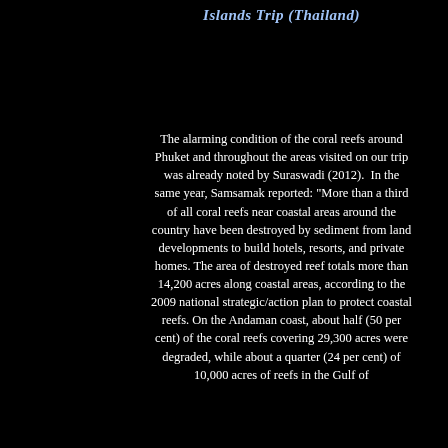Islands Trip (Thailand)
The alarming condition of the coral reefs around Phuket and throughout the areas visited on our trip was already noted by Suraswadi (2012).  In the same year, Samsamak reported: "More than a third of all coral reefs near coastal areas around the country have been destroyed by sediment from land developments to build hotels, resorts, and private homes. The area of destroyed reef totals more than 14,200 acres along coastal areas, according to the 2009 national strategic/action plan to protect coastal reefs. On the Andaman coast, about half (50 per cent) of the coral reefs covering 29,300 acres were degraded, while about a quarter (24 per cent) of 10,000 acres of reefs in the Gulf of